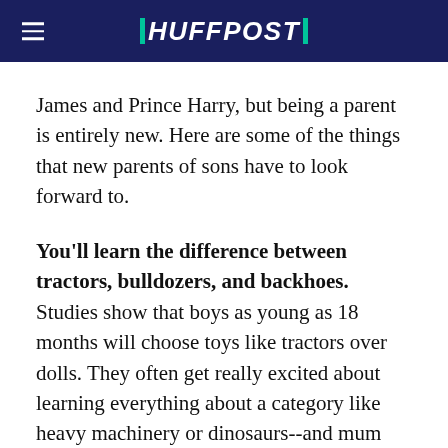HUFFPOST
James and Prince Harry, but being a parent is entirely new. Here are some of the things that new parents of sons have to look forward to.
You'll learn the difference between tractors, bulldozers, and backhoes. Studies show that boys as young as 18 months will choose toys like tractors over dolls. They often get really excited about learning everything about a category like heavy machinery or dinosaurs--and mum and dad get taken along for the ride. Whether from books, videos, or toys, you'll learn more than you ever thought possible about how excavators work and what stegosauruses